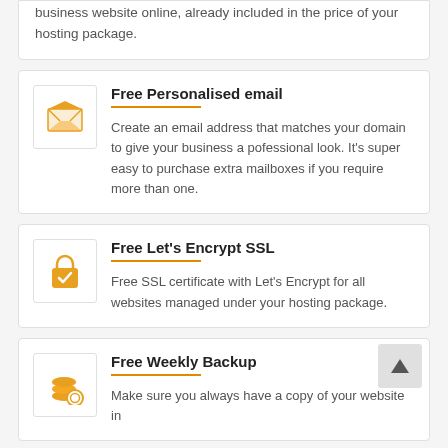business website online, already included in the price of your hosting package.
Free Personalised email
Create an email address that matches your domain to give your business a pofessional look. It's super easy to purchase extra mailboxes if you require more than one.
Free Let's Encrypt SSL
Free SSL certificate with Let's Encrypt for all websites managed under your hosting package.
Free Weekly Backup
Make sure you always have a copy of your website in